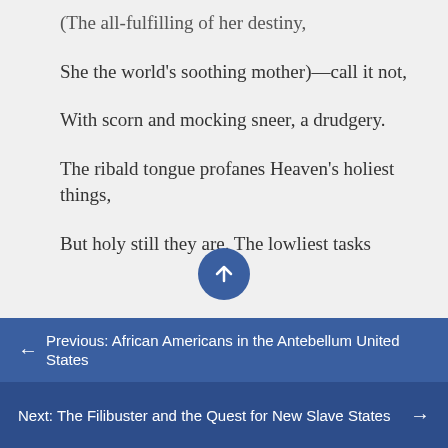(The all-fulfilling of her destiny,
She the world's soothing mother)—call it not,
With scorn and mocking sneer, a drudgery.
The ribald tongue profanes Heaven's holiest things,
But holy still they are. The lowliest tasks
Previous: African Americans in the Antebellum United States
Next: The Filibuster and the Quest for New Slave States